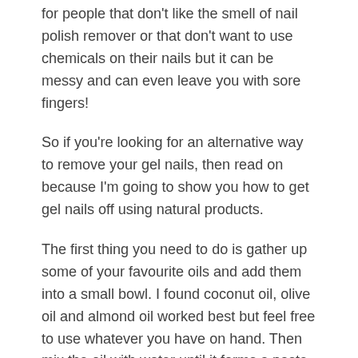for people that don't like the smell of nail polish remover or that don't want to use chemicals on their nails but it can be messy and can even leave you with sore fingers!
So if you're looking for an alternative way to remove your gel nails, then read on because I'm going to show you how to get gel nails off using natural products.
The first thing you need to do is gather up some of your favourite oils and add them into a small bowl. I found coconut oil, olive oil and almond oil worked best but feel free to use whatever you have on hand. Then mix the oil with water until it forms a paste. You can use any kind of water here but I recommend filtered or distilled so you don't have any impurities in your mixture.
Once the mixture has formed into a paste
If you want to remove your gel nails at home and save some money, this is the article for you. We have found a few natural